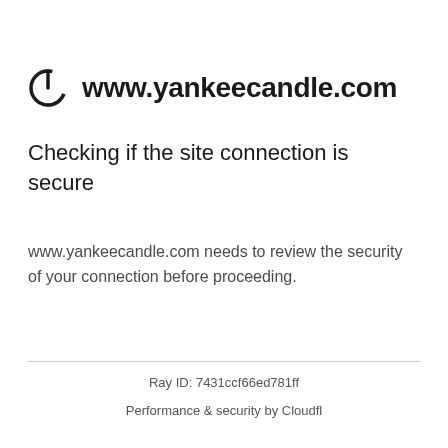www.yankeecandle.com
Checking if the site connection is secure
www.yankeecandle.com needs to review the security of your connection before proceeding.
Ray ID: 7431ccf66ed781ff